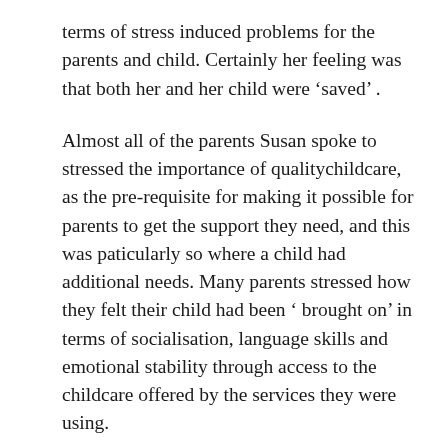terms of stress induced problems for the parents and child. Certainly her feeling was that both her and her child were ‘saved’ .
Almost all of the parents Susan spoke to stressed the importance of qualitychildcare,  as the pre-requisite for making it possible for parents to get the support they need, and this was paticularly so where a child had additional needs. Many parents stressed how they felt their child had been ‘ brought on’ in terms of socialisation, language skills and emotional stability through access to the childcare offered by the services they were using.
Finally, I have been reading lots of information